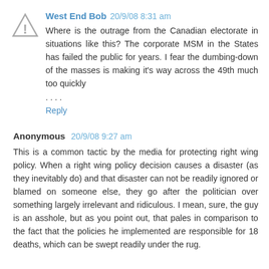West End Bob 20/9/08 8:31 am
Where is the outrage from the Canadian electorate in situations like this? The corporate MSM in the States has failed the public for years. I fear the dumbing-down of the masses is making it's way across the 49th much too quickly . . . .
Reply
Anonymous 20/9/08 9:27 am
This is a common tactic by the media for protecting right wing policy. When a right wing policy decision causes a disaster (as they inevitably do) and that disaster can not be readily ignored or blamed on someone else, they go after the politician over something largely irrelevant and ridiculous. I mean, sure, the guy is an asshole, but as you point out, that pales in comparison to the fact that the policies he implemented are responsible for 18 deaths, which can be swept readily under the rug.